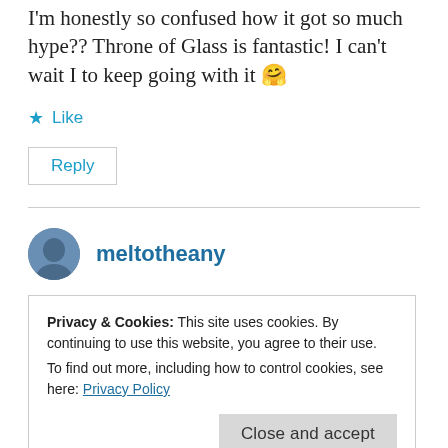I'm honestly so confused how it got so much hype?? Throne of Glass is fantastic! I can't wait I to keep going with it 🤗
★ Like
Reply
meltotheany
Privacy & Cookies: This site uses cookies. By continuing to use this website, you agree to their use.
To find out more, including how to control cookies, see here: Privacy Policy
Close and accept
drawn to it ever since? But I'm using your pick as